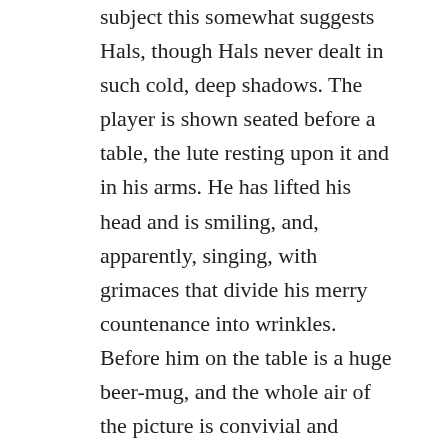subject this somewhat suggests Hals, though Hals never dealt in such cold, deep shadows. The player is shown seated before a table, the lute resting upon it and in his arms. He has lifted his head and is smiling, and, apparently, singing, with grimaces that divide his merry countenance into wrinkles. Before him on the table is a huge beer-mug, and the whole air of the picture is convivial and rollicking to the last degree. It has less of the artificial effect of lighting than many of Honthorst's.
Jan van Goyen died the same year as Honthorst, 1656. He was one of the earliest of Dutch landscape and marine painters, and was one of the very first to' give to the sky a real place of importance in a picture. His skies were always remarkably in accord with his fields, his canals, his seas, and they were always full of light,